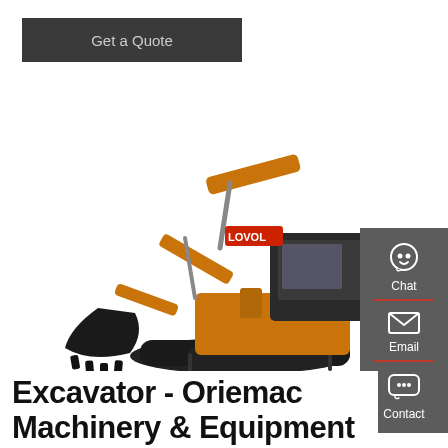Get a Quote
[Figure (photo): Yellow LOVOL mini excavator with black bucket and blade on white background]
[Figure (infographic): Dark grey sidebar with Chat (headset icon), Email (envelope icon), and Contact (speech bubble icon) options, separated by red dividers]
Excavator - Oriemac Machinery & Equipment